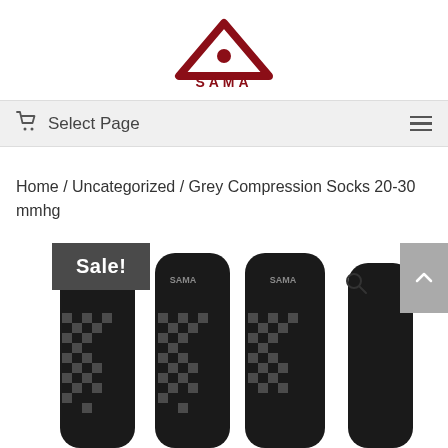[Figure (logo): SAMA brand logo — red triangular mountain/arrow shape with a maple leaf, with text SAMA below in dark red]
🛒  Select Page
Home / Uncategorized / Grey Compression Socks 20-30 mmhg
[Figure (photo): Product photo of grey and black SAMA compression socks showing 4 socks side by side with checkered knit pattern and SAMA logo branding. A Sale! badge is overlaid in the top left, a search icon appears top right, and a scroll-to-top button is in the far right.]